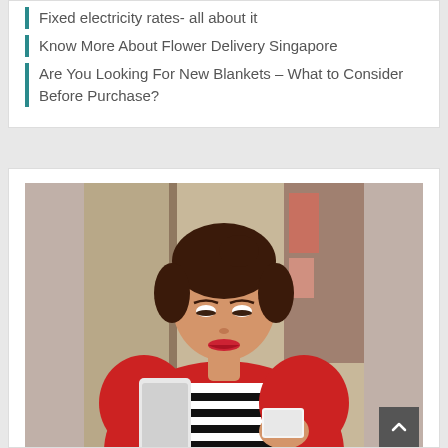Fixed electricity rates- all about it
Know More About Flower Delivery Singapore
Are You Looking For New Blankets – What to Consider Before Purchase?
[Figure (photo): Young woman in red jacket and striped shirt smiling while holding a smartphone and a small white box, appearing to do online shopping or mobile payment]